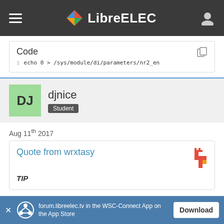LibreELEC
Code
1  echo 0 > /sys/module/di/parameters/nr2_en
djnice
Student
Aug 11th 2017
Quote from wrxtasy
TIP
forum.libreelec.tv in the WSC-Connect App on the App Store  Download